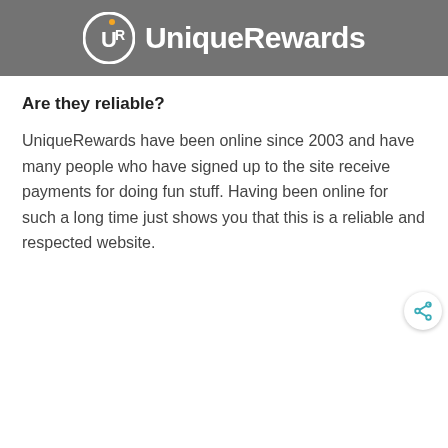[Figure (logo): UniqueRewards logo on gray background — circular UR icon with orange accent dot above the 'i', white text reading 'UniqueRewards']
Are they reliable?
UniqueRewards have been online since 2003 and have many people who have signed up to the site receive payments for doing fun stuff. Having been online for such a long time just shows you that this is a reliable and respected website.